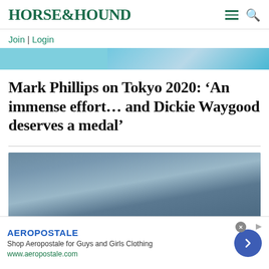HORSE&HOUND
Join | Login
[Figure (photo): Partial top image with blue sky/background, likely equestrian event photo cropped at top]
Mark Phillips on Tokyo 2020: ‘An immense effort… and Dickie Waygood deserves a medal’
[Figure (photo): Photo of a person wearing a blue Nike cap, outdoors with blue sky background]
AEROPOSTALE
Shop Aeropostale for Guys and Girls Clothing
www.aeropostale.com